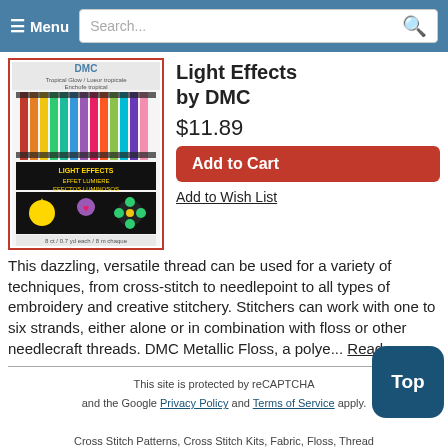≡ Menu  Search...
[Figure (photo): DMC Light Effects thread set package showing colorful threads in rainbow colors with embroidery samples on the front, Tropical Glow / Lueur tropicale / Enchufe tropical]
Light Effects by DMC
$11.89
Add to Cart
Add to Wish List
This dazzling, versatile thread can be used for a variety of techniques, from cross-stitch to needlepoint to all types of embroidery and creative stitchery. Stitchers can work with one to six strands, either alone or in combination with floss or other needlecraft threads. DMC Metallic Floss, a polye... Read more
This site is protected by reCAPTCHA and the Google Privacy Policy and Terms of Service apply.
Cross Stitch Patterns, Cross Stitch Kits, Fabric, Floss, Thread
Copyright © 1997-2022, 1-2-3 Stitch!®, Lewisville Texas. All Rights Reserved.